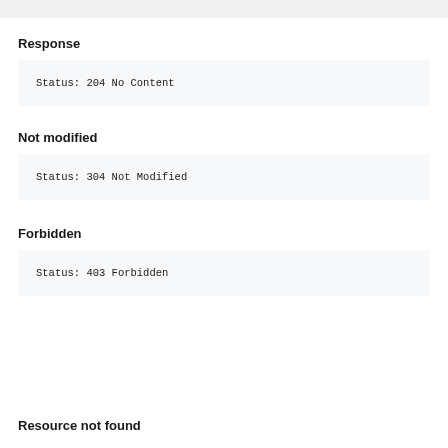Response
Status: 204 No Content
Not modified
Status: 304 Not Modified
Forbidden
Status: 403 Forbidden
Resource not found